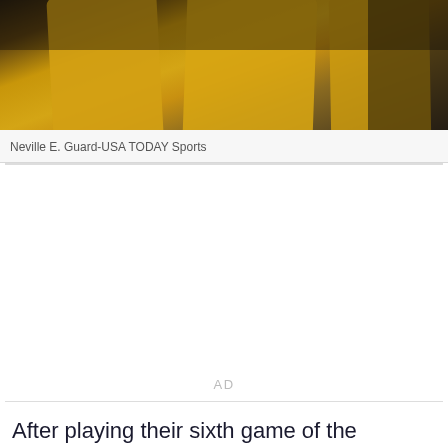[Figure (photo): Football players in yellow/gold jerseys, shot from chest level showing torsos and arms]
Neville E. Guard-USA TODAY Sports
After playing their sixth game of the season, the Arizona Wildcats have officially reached the half way point and are sitting nicely with a 4-2 record.